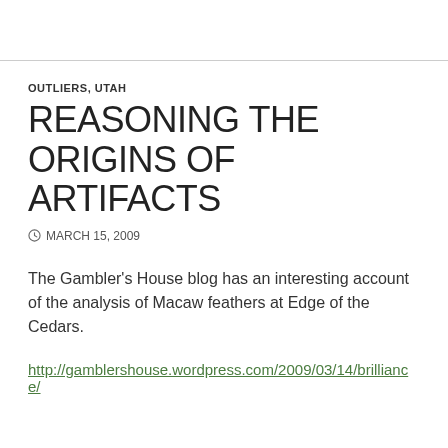OUTLIERS, UTAH
REASONING THE ORIGINS OF ARTIFACTS
MARCH 15, 2009
The Gambler’s House blog has an interesting account of the analysis of Macaw feathers at Edge of the Cedars.
http://gamblershouse.wordpress.com/2009/03/14/brilliance/